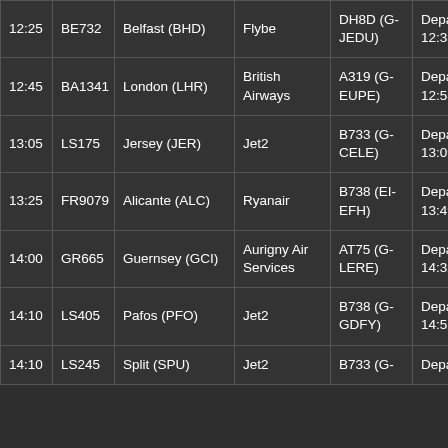| Time | Flight | Destination | Airline | Aircraft | Status |
| --- | --- | --- | --- | --- | --- |
| 12:25 | BE732 | Belfast (BHD) | Flybe | DH8D (G-JEDU) | Departed 12:33 |
| 12:45 | BA1341 | London (LHR) | British Airways | A319 (G-EUPE) | Departed 12:58 |
| 13:05 | LS175 | Jersey (JER) | Jet2 | B733 (G-CELE) | Departed 13:09 |
| 13:25 | FR9079 | Alicante (ALC) | Ryanair | B738 (EI-EFH) | Departed 13:49 |
| 14:00 | GR665 | Guernsey (GCI) | Aurigny Air Services | AT75 (G-LERE) | Departed 14:32 |
| 14:10 | LS405 | Pafos (PFO) | Jet2 | B738 (G-GDFY) | Departed 14:52 |
| 14:10 | LS245 | Split (SPU) | Jet2 | B733 (G-...) | Departed 14:... |